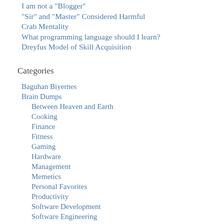I am not a "Blogger"
“Sir” and “Master” Considered Harmful
Crab Mentality
What programming language should I learn?
Dreyfus Model of Skill Acquisition
Categories
Baguhan Biyernes
Brain Dumps
Between Heaven and Earth
Cooking
Finance
Fitness
Gaming
Hardware
Management
Memetics
Personal Favorites
Productivity
Software Development
Software Engineering